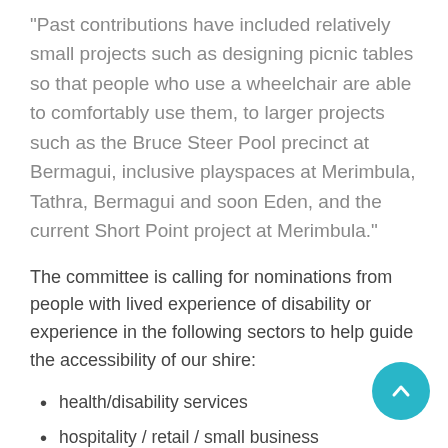“Past contributions have included relatively small projects such as designing picnic tables so that people who use a wheelchair are able to comfortably use them, to larger projects such as the Bruce Steer Pool precinct at Bermagui, inclusive playspaces at Merimbula, Tathra, Bermagui and soon Eden, and the current Short Point project at Merimbula.”
The committee is calling for nominations from people with lived experience of disability or experience in the following sectors to help guide the accessibility of our shire:
health/disability services
hospitality / retail / small business
accommodation services (hotels, motels, caravan parks etc)
community services